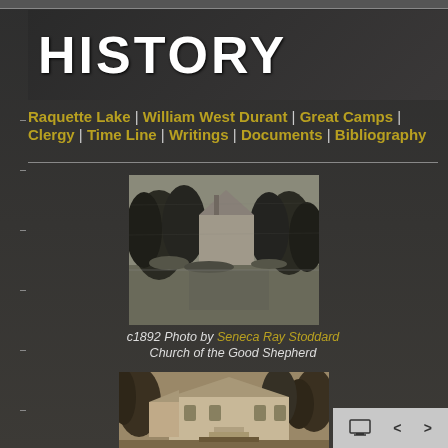HISTORY
Raquette Lake | William West Durant | Great Camps | Clergy | Time Line | Writings | Documents | Bibliography
[Figure (photo): Black and white c1892 photograph of Church of the Good Shepherd viewed from across water, with trees and building reflection visible]
c1892 Photo by Seneca Ray Stoddard
Church of the Good Shepherd
[Figure (photo): Sepia/vintage photograph of Church of the Good Shepherd building among trees, showing exterior with stairs and dock area]